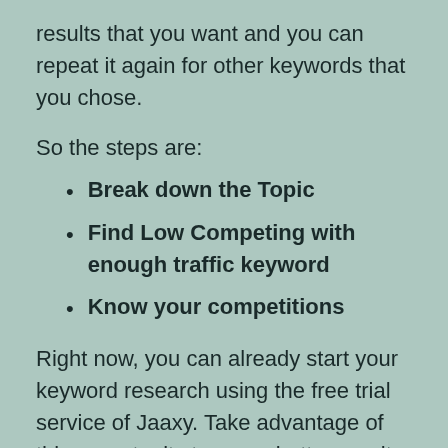results that you want and you can repeat it again for other keywords that you chose.
So the steps are:
Break down the Topic
Find Low Competing with enough traffic keyword
Know your competitions
Right now, you can already start your keyword research using the free trial service of Jaaxy. Take advantage of this opportunity to see a better result in your rankings and eventually bring more traffic to your website.